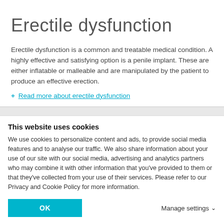Erectile dysfunction
Erectile dysfunction is a common and treatable medical condition. A highly effective and satisfying option is a penile implant. These are either inflatable or malleable and are manipulated by the patient to produce an effective erection.
+ Read more about erectile dysfunction
Products
This website uses cookies
We use cookies to personalize content and ads, to provide social media features and to analyse our traffic. We also share information about your use of our site with our social media, advertising and analytics partners who may combine it with other information that you've provided to them or that they've collected from your use of their services. Please refer to our Privacy and Cookie Policy for more information.
OK
Manage settings